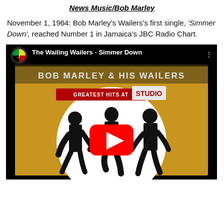News Music/Bob Marley
November 1, 1964: Bob Marley's Wailers's first single, 'Simmer Down', reached Number 1 in Jamaica's JBC Radio Chart.
[Figure (screenshot): YouTube video thumbnail showing 'The Wailing Wailers - Simmer Down' with album artwork featuring three men dancing, a red YouTube play button in the center, and a channel logo in the top left corner.]